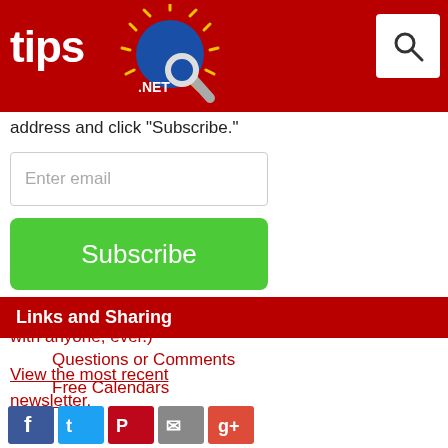tips.net
address and click "Subscribe."
Enter email
Subscribe
(Your e-mail address is not shared with anyone, ever.)
View the most recent newsletter.
Links and Sharing
Questions or Comments
Free Calendars
[Figure (other): Social media sharing icons: Facebook (blue), Twitter (light blue), Pinterest (red), Email (grey), Google+ (red)]